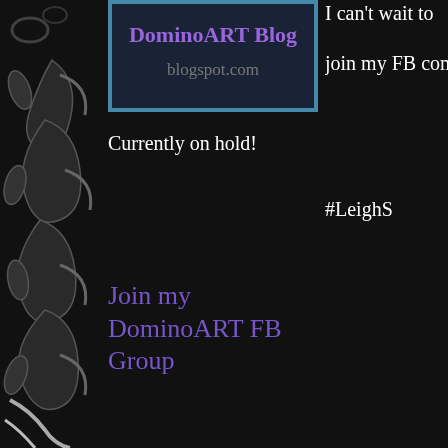[Figure (illustration): Decorative black scroll/flourish ornament on the left side of the page]
[Figure (illustration): DominoART Blog blogspot.com banner image with teal border]
Currently on hold!
I can't wait to
join my FB com
#LeighS
Join my DominoART FB Group
[Figure (illustration): DominoART Facebook Group promotional image with domino tiles spelling DOMINO ART and decorative Facebook Group text in yellow on teal background]